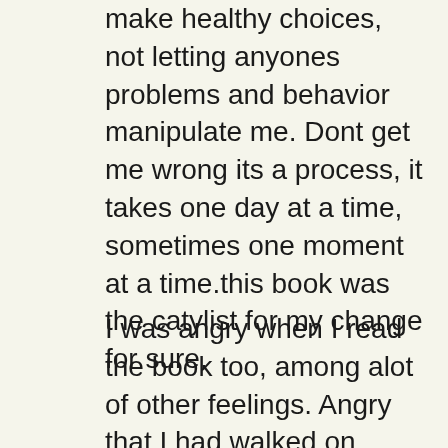make healthy choices, not letting anyones problems and behavior manipulate me. Dont get me wrong its a process, it takes one day at a time, sometimes one moment at a time.this book was the catylist for my change for sure.
I was angry when I read the book too, among alot of other feelings. Angry that I had walked on eggshells for so many years . Angry at myself, angry at my BPDSO that I had just left. Angry that the dreams I had for a family with my exso would never be